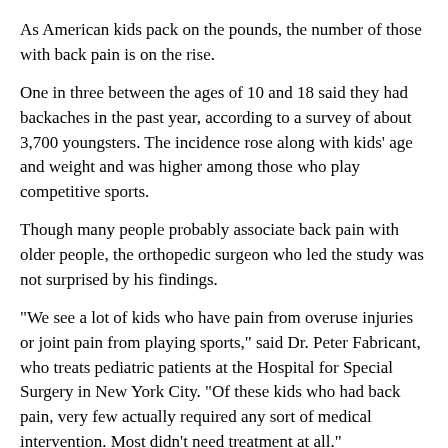As American kids pack on the pounds, the number of those with back pain is on the rise.
One in three between the ages of 10 and 18 said they had backaches in the past year, according to a survey of about 3,700 youngsters. The incidence rose along with kids' age and weight and was higher among those who play competitive sports.
Though many people probably associate back pain with older people, the orthopedic surgeon who led the study was not surprised by his findings.
"We see a lot of kids who have pain from overuse injuries or joint pain from playing sports," said Dr. Peter Fabricant, who treats pediatric patients at the Hospital for Special Surgery in New York City. "Of these kids who had back pain, very few actually required any sort of medical intervention. Most didn't need treatment at all."
About 80 percent of adults suffer from lower back pain at some time, according to the U.S. National Institutes of Health.
But this is the first time the extent of back pain among children has been estimated on nationwide scale, the authors said. The youngsters surveyed were equally split by age and gender.